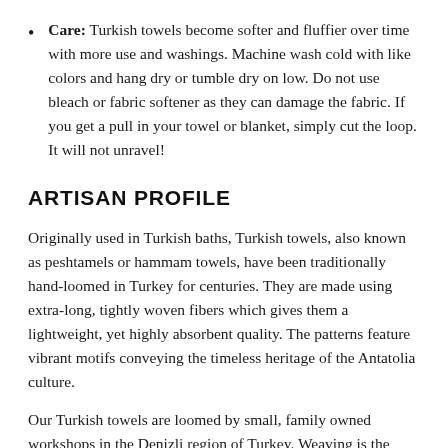Care: Turkish towels become softer and fluffier over time with more use and washings. Machine wash cold with like colors and hang dry or tumble dry on low. Do not use bleach or fabric softener as they can damage the fabric. If you get a pull in your towel or blanket, simply cut the loop. It will not unravel!
ARTISAN PROFILE
Originally used in Turkish baths, Turkish towels, also known as peshtamels or hammam towels, have been traditionally hand-loomed in Turkey for centuries. They are made using extra-long, tightly woven fibers which gives them a lightweight, yet highly absorbent quality. The patterns feature vibrant motifs conveying the timeless heritage of the Antatolia culture.
Our Turkish towels are loomed by small, family owned workshops in the Denizli region of Turkey. Weaving is the main source of income for these skilled weavers, who pride themselves on keeping the looming tradition alive, utilizing